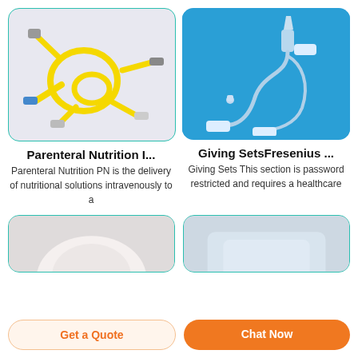[Figure (photo): Yellow IV tubing / parenteral nutrition infusion set on light grey/white background with rounded corners]
[Figure (photo): Clear IV giving set / infusion tubing on blue background with rounded corners]
Parenteral Nutrition I...
Parenteral Nutrition PN is the delivery of nutritional solutions intravenously to a
Giving SetsFresenius ...
Giving Sets This section is password restricted and requires a healthcare
[Figure (photo): Partial view of a white/beige medical product on light grey background, bottom left card]
[Figure (photo): Partial view of a light blue/grey medical product on light background, bottom right card]
Get a Quote
Chat Now